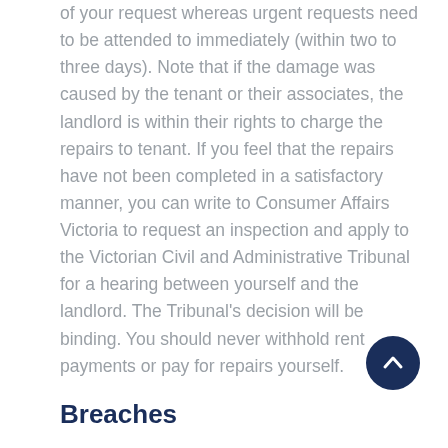of your request whereas urgent requests need to be attended to immediately (within two to three days). Note that if the damage was caused by the tenant or their associates, the landlord is within their rights to charge the repairs to tenant. If you feel that the repairs have not been completed in a satisfactory manner, you can write to Consumer Affairs Victoria to request an inspection and apply to the Victorian Civil and Administrative Tribunal for a hearing between yourself and the landlord. The Tribunal's decision will be binding. You should never withhold rent payments or pay for repairs yourself.
Breaches